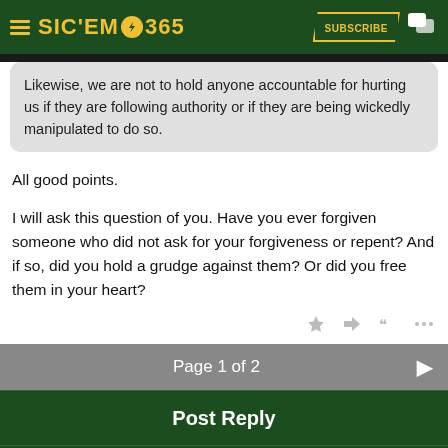SIC'EM 365 | SUBSCRIBE
Likewise, we are not to hold anyone accountable for hurting us if they are following authority or if they are being wickedly manipulated to do so.
All good points.

I will ask this question of you. Have you ever forgiven someone who did not ask for your forgiveness or repent? And if so, did you hold a grudge against them? Or did you free them in your heart?
Page 1 of 2
Post Reply
Forums  Eric Treszoks Politics, Religion, Etc.